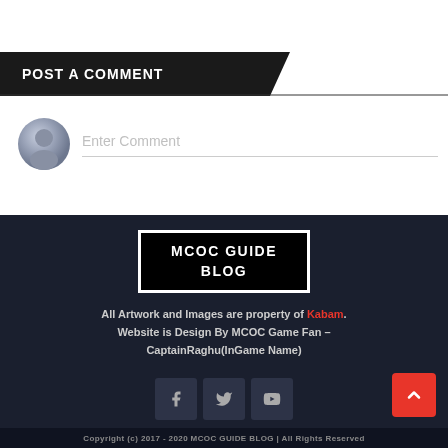POST A COMMENT
Enter Comment
[Figure (logo): MCOC GUIDE BLOG logo — white text on black background with white border]
All Artwork and Images are property of Kabam. Website is Design By MCOC Game Fan – CaptainRaghu(InGame Name)
[Figure (infographic): Social media icons: Facebook, Twitter, YouTube]
Copyright (c) 2017 - 2020 MCOC GUIDE BLOG | All Rights Reserved